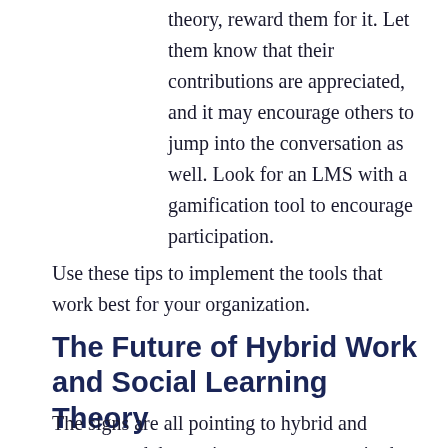theory, reward them for it. Let them know that their contributions are appreciated, and it may encourage others to jump into the conversation as well. Look for an LMS with a gamification tool to encourage participation.
Use these tips to implement the tools that work best for your organization.
The Future of Hybrid Work and Social Learning Theory
The signs are all pointing to hybrid and remote work becoming more common in the future. That